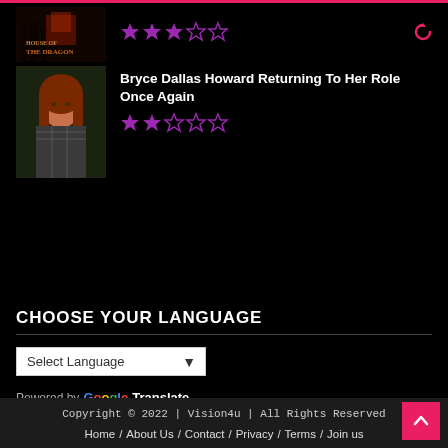[Figure (screenshot): House of the Dragon thumbnail image with dark fantasy artwork]
[Figure (other): Star rating: 3 out of 5 purple stars]
[Figure (photo): Photo of Bryce Dallas Howard, woman with red hair]
Bryce Dallas Howard Returning To Her Role Once Again
[Figure (other): Star rating: 2 out of 5 purple stars]
CHOOSE YOUR LANGUAGE
Select Language
Powered by Google Translate
Copyright © 2022 | Vision4u | All Rights Reserved
Home / About Us / Contact / Privacy / Terms / Join us